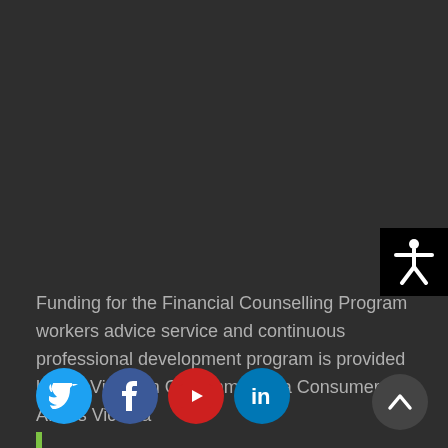[Figure (illustration): Accessibility icon button — white human figure with arms outstretched on black background]
Funding for the Financial Counselling Program workers advice service and continuous professional development program is provided by the Victorian Government via Consumer Affairs Victoria
[Figure (other): Social media icons: Twitter (blue bird), Facebook (blue f), YouTube (red play button), LinkedIn (blue in)]